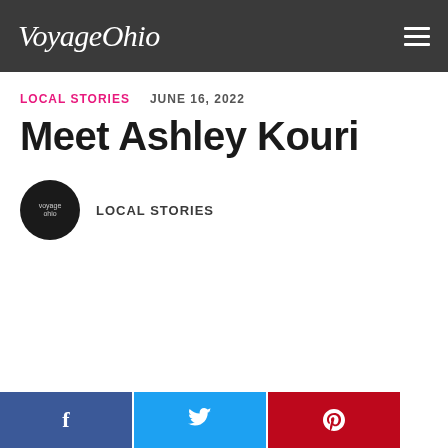VoyageOhio
LOCAL STORIES   JUNE 16, 2022
Meet Ashley Kouri
LOCAL STORIES
[Figure (logo): VoyageOhio circular logo avatar in black circle]
Facebook, Twitter, Pinterest social share buttons